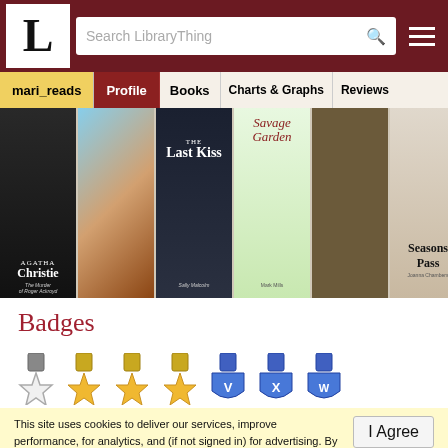LibraryThing - Search LibraryThing
[Figure (screenshot): Navigation tabs: mari_reads (active, yellow), Profile (dark red), Books, Charts & Graphs, Reviews]
[Figure (photo): Strip of book covers: Agatha Christie The Murder of Roger Ackroyd, a second book, The Last Kiss by Sally Malcolm, Savage Garden by Mark Mills, a plain brown cover, Seasons Pass by Joanna Chambers]
Badges
[Figure (infographic): Row of 7 badge medals: an outlined star (gray/white), two gold stars, one gold star, a blue shield with V, a blue shield with X, a blue shield with W]
This site uses cookies to deliver our services, improve performance, for analytics, and (if not signed in) for advertising. By using LibraryThing you acknowledge that you have read and understand our Terms of Service and Privacy Policy. Your use of the site and services is subject to these policies and terms.
I Agree